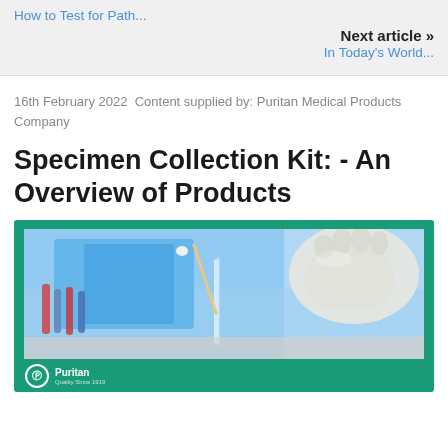How to Test for Path...
Next article »
In Today's World...
16th February 2022  Content supplied by: Puritan Medical Products Company
Specimen Collection Kit: - An Overview of Products
[Figure (photo): Lab technician in white glove holding a swab over test tubes and medical vials on a blue background, with teal/green border and Puritan Medical Products Company logo at bottom left]